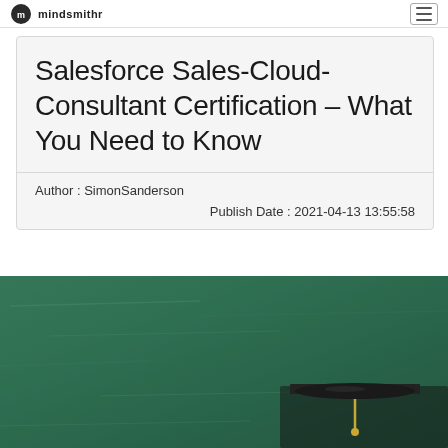mindsmithr
Salesforce Sales-Cloud-Consultant Certification – What You Need to Know
Author : SimonSanderson
Publish Date : 2021-04-13 13:55:58
[Figure (photo): Graduation cap on a green chalkboard background]